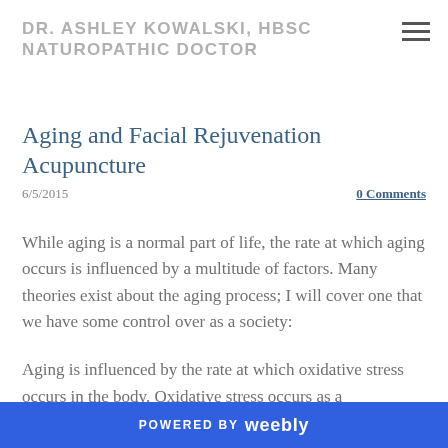DR. ASHLEY KOWALSKI, HBSC NATUROPATHIC DOCTOR
Aging and Facial Rejuvenation Acupuncture
6/5/2015
0 Comments
While aging is a normal part of life, the rate at which aging occurs is influenced by a multitude of factors. Many theories exist about the aging process; I will cover one that we have some control over as a society:
Aging is influenced by the rate at which oxidative stress occurs in the body. Oxidative stress occurs as a
POWERED BY weebly